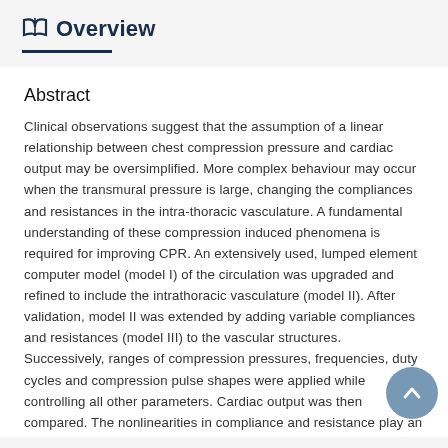Overview
Abstract
Clinical observations suggest that the assumption of a linear relationship between chest compression pressure and cardiac output may be oversimplified. More complex behaviour may occur when the transmural pressure is large, changing the compliances and resistances in the intra-thoracic vasculature. A fundamental understanding of these compression induced phenomena is required for improving CPR. An extensively used, lumped element computer model (model I) of the circulation was upgraded and refined to include the intrathoracic vasculature (model II). After validation, model II was extended by adding variable compliances and resistances (model III) to the vascular structures. Successively, ranges of compression pressures, frequencies, duty cycles and compression pulse shapes were applied while controlling all other parameters. Cardiac output was then compared. The nonlinearities in compliance and resistance play an important role in limiting factors in cardiac output.